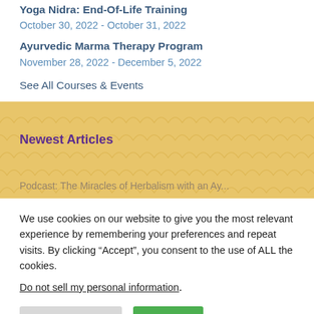Yoga Nidra: End-Of-Life Training
October 30, 2022 - October 31, 2022
Ayurvedic Marma Therapy Program
November 28, 2022 - December 5, 2022
See All Courses & Events
Newest Articles
Podcast: The Miracles of Herbalism with an Ay...
We use cookies on our website to give you the most relevant experience by remembering your preferences and repeat visits. By clicking “Accept”, you consent to the use of ALL the cookies.
Do not sell my personal information.